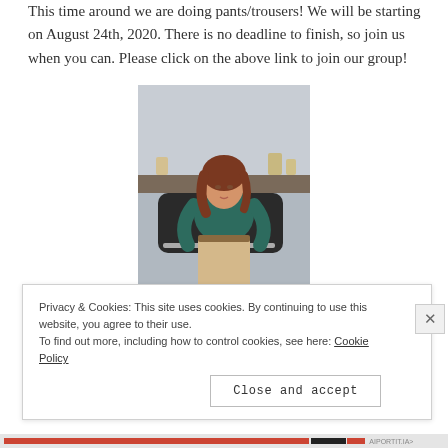This time around we are doing pants/trousers! We will be starting on August 24th, 2020. There is no deadline to finish, so join us when you can. Please click on the above link to join our group!
[Figure (photo): A woman wearing a teal short-sleeve top and high-waisted beige wide-leg trousers, standing in front of what appears to be a fireplace mantle with trophies, vintage style photograph.]
Privacy & Cookies: This site uses cookies. By continuing to use this website, you agree to their use. To find out more, including how to control cookies, see here: Cookie Policy
Close and accept